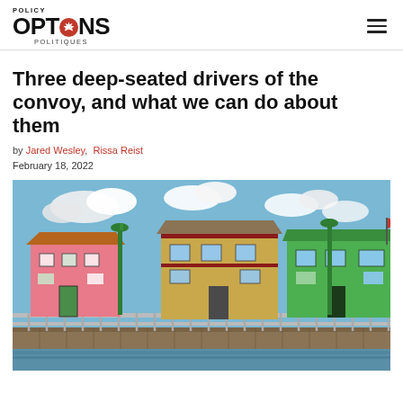POLICY OPTIONS POLITIQUES
Three deep-seated drivers of the convoy, and what we can do about them
by Jared Wesley, Rissa Reist
February 18, 2022
[Figure (photo): Colorful waterfront buildings on a boardwalk with green lamp posts and a partly cloudy blue sky — a maritime town streetscape.]